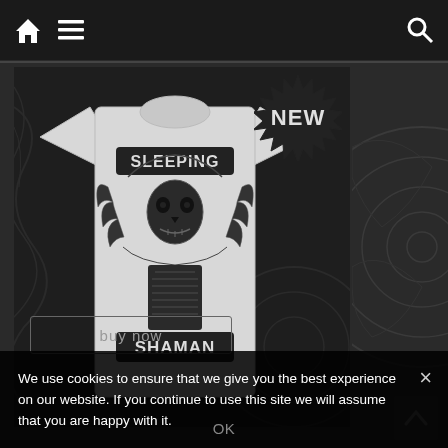Navigation bar with home icon, menu icon, and search icon
[Figure (photo): A light grey t-shirt with a detailed black and white graphic design showing a winged skull/shaman figure with 'SLEEPING SHAMAN' text, displayed on a dark patterned background. A black starburst badge with 'NEW' text appears in the top-right corner of the product image area.]
We use cookies to ensure that we give you the best experience on our website. If you continue to use this site we will assume that you are happy with it.
OK